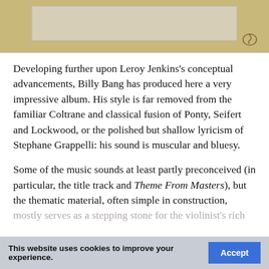[Figure (illustration): Top portion of a page showing a partial image with a tan/golden background and a light-colored rectangular shape, with a small decorative icon in the lower right.]
Developing further upon Leroy Jenkins’s conceptual advancements, Billy Bang has produced here a very impressive album. His style is far removed from the familiar Coltrane and classical fusion of Ponty, Seifert and Lockwood, or the polished but shallow lyricism of Stephane Grappelli: his sound is muscular and bluesy.
Some of the music sounds at least partly preconceived (in particular, the title track and Theme From Masters), but the thematic material, often simple in construction, mostly serves as a stepping stone for the violinist’s rich
This website uses cookies to improve your experience.  Accept